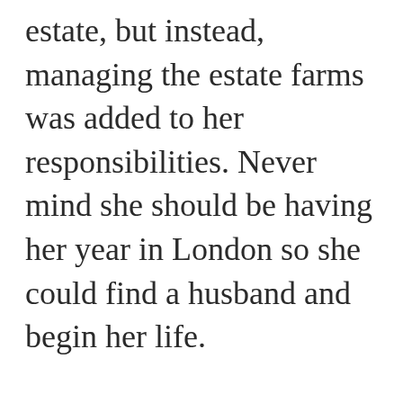estate, but instead, managing the estate farms was added to her responsibilities. Never mind she should be having her year in London so she could find a husband and begin her life.

Her brother could have cashed out of his commission and